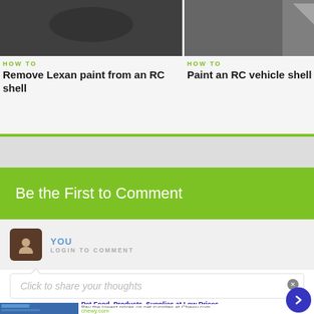HOW TO
Remove Lexan paint from an RC shell
HOW TO
Paint an RC vehicle shell
Be the First to Comment
YOU
LOGIN TO COMMENT
Click to share your thoughts
Pet Food, Products, Supplies at Low Prices -
Pay the lowest prices on pet supplies at Chewy.com
chewy.com